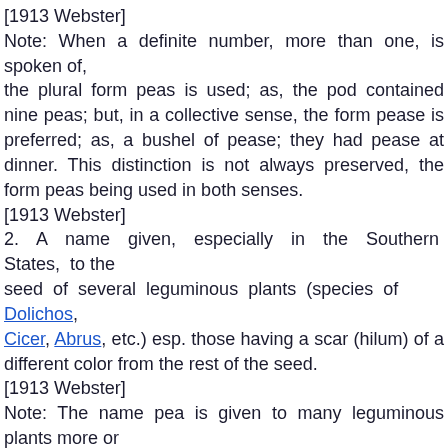[1913 Webster]
Note: When a definite number, more than one, is spoken of, the plural form peas is used; as, the pod contained nine peas; but, in a collective sense, the form pease is preferred; as, a bushel of pease; they had pease at dinner. This distinction is not always preserved, the form peas being used in both senses.
[1913 Webster]
2. A name given, especially in the Southern States, to the seed of several leguminous plants (species of Dolichos, Cicer, Abrus, etc.) esp. those having a scar (hilum) of a different color from the rest of the seed.
[1913 Webster]
Note: The name pea is given to many leguminous plants more or less closely related to the common pea. See the Phrases, below.
[1913 Webster]